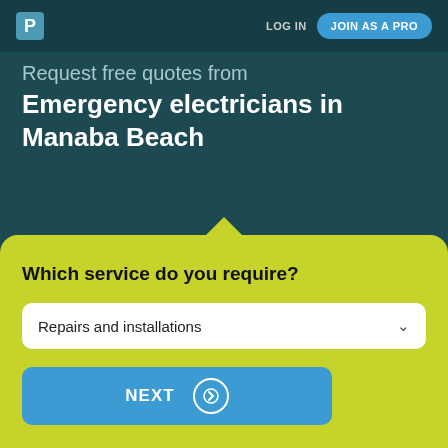[Figure (logo): Letter P logo on dark teal background]
LOG IN
JOIN AS A PRO
Request free quotes from
Emergency electricians in Manaba Beach
Which service do you require?
Repairs and installations
NEXT